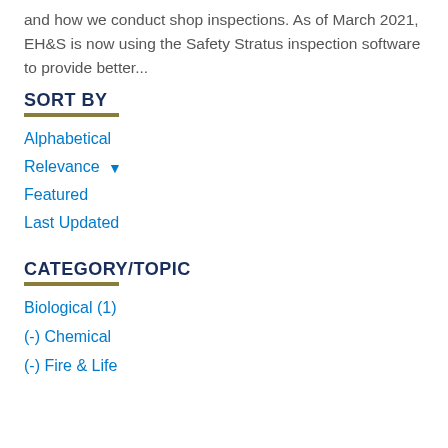and how we conduct shop inspections. As of March 2021, EH&S is now using the Safety Stratus inspection software to provide better...
SORT BY
Alphabetical
Relevance ▾
Featured
Last Updated
CATEGORY/TOPIC
Biological (1)
(-) Chemical
(-) Fire & Life